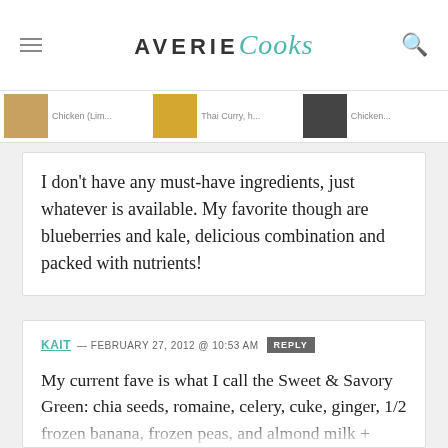AVERIE Cooks
I don't have any must-have ingredients, just whatever is available. My favorite though are blueberries and kale, delicious combination and packed with nutrients!
KAIT — FEBRUARY 27, 2012 @ 10:53 AM REPLY
My current fave is what I call the Sweet & Savory Green: chia seeds, romaine, celery, cuke, ginger, 1/2 frozen banana, frozen peas, and almond milk + water as necessary.